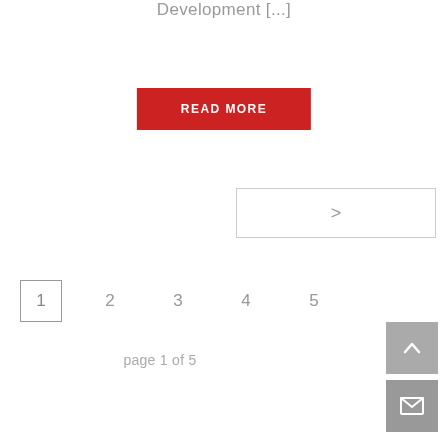Development [...]
READ MORE
[Figure (other): Next arrow navigation button — a rectangle with a right-pointing chevron (›) centered inside]
1  2  3  4  5
page 1 of 5
[Figure (other): Scroll-to-top button: gray square with upward chevron arrow]
[Figure (other): Email/envelope button: gray square with envelope icon]